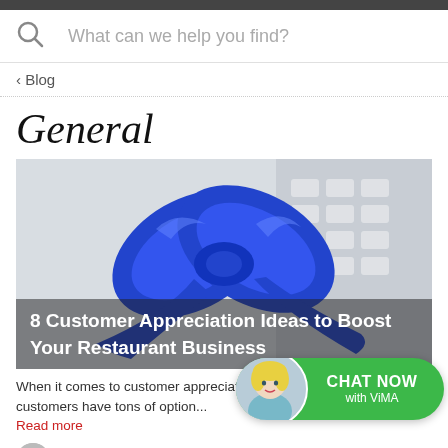What can we help you find?
< Blog
General
[Figure (photo): A blue satin ribbon bow tied around a gift, with a computer keyboard in the background. Overlay text reads: 8 Customer Appreciation Ideas to Boost Your Restaurant Business]
When it comes to customer appreciation, your re... extra mile since customers have tons of option...
Read more
[Figure (illustration): Chat widget with a blonde woman avatar and green pill-shaped button labeled CHAT NOW with ViMA]